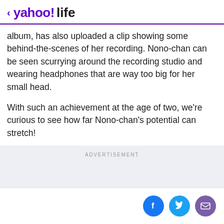< yahoo!life
album, has also uploaded a clip showing some behind-the-scenes of her recording. Nono-chan can be seen scurrying around the recording studio and wearing headphones that are way too big for her small head.
With such an achievement at the age of two, we're curious to see how far Nono-chan's potential can stretch!
ADVERTISEMENT
Social share icons: Facebook, Twitter, Email